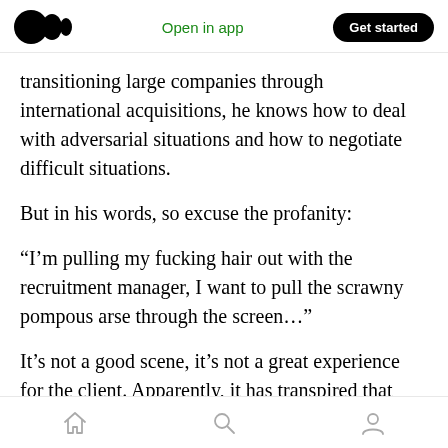Open in app | Get started
transitioning large companies through international acquisitions, he knows how to deal with adversarial situations and how to negotiate difficult situations.
But in his words, so excuse the profanity:
“I’m pulling my fucking hair out with the recruitment manager, I want to pull the scrawny pompous arse through the screen…”
It’s not a good scene, it’s not a great experience for the client. Apparently, it has transpired that
home | search | profile